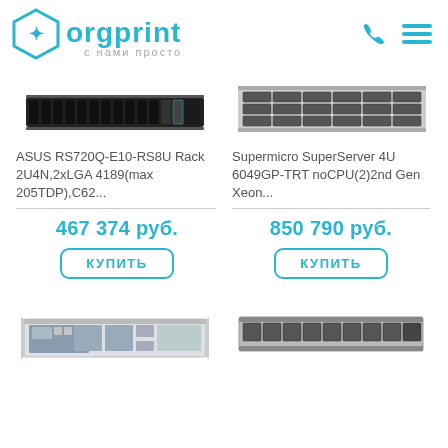orgprint с нами просто
[Figure (photo): ASUS RS720Q-E10-RS8U rack server unit, front view, 2U form factor]
[Figure (photo): Supermicro SuperServer 4U 6049GP-TRT rack server unit, front view with drive bays]
ASUS RS720Q-E10-RS8U Rack 2U4N,2xLGA 4189(max 205TDP),C62...
Supermicro SuperServer 4U 6049GP-TRT noCPU(2)2nd Gen Xeon...
467 374 руб.
850 790 руб.
КУПИТЬ
КУПИТЬ
[Figure (photo): Open rack server chassis, 2U, internal components visible]
[Figure (photo): Rack server unit, 1U, front view with drive bays and connectors]